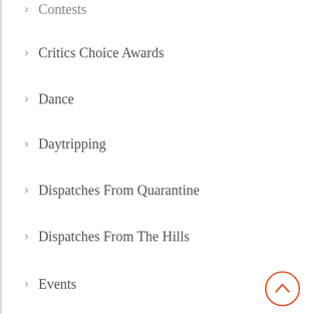Contests
Critics Choice Awards
Dance
Daytripping
Dispatches From Quarantine
Dispatches From The Hills
Events
Featured
Festivals
Food And Drink
Lifestyle
Lifestyle